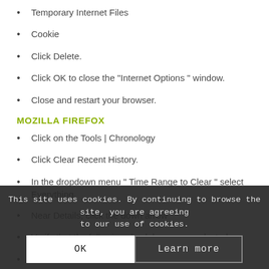Temporary Internet Files
Cookie
Click Delete.
Click OK to close the “Internet Options ” window.
Close and restart your browser.
MOZILLA FIREFOX
Click on the Tools | Chronology
Click Clear Recent History.
In the dropdown menu “ Time Range to Clear “ select Everything.
Near Details, click the down arrow
Verify that the following check boxes are selected:
Cache
Accesses mad…
Click Clear Now.
This site uses cookies. By continuing to browse the site, you are agreeing to our use of cookies.